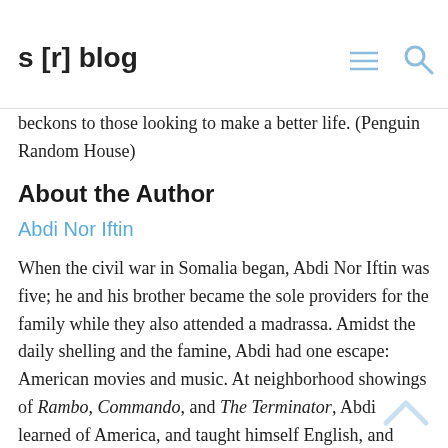s [r] blog
path to citizenship, Abdi Nor Iftin's dramatic, stirring memoir is truly a story for our time: a vivid reminder of why America still beckons to those looking to make a better life. (Penguin Random House)
About the Author
Abdi Nor Iftin
When the civil war in Somalia began, Abdi Nor Iftin was five; he and his brother became the sole providers for the family while they also attended a madrassa. Amidst the daily shelling and the famine, Abdi had one escape: American movies and music. At neighborhood showings of Rambo, Commando, and The Terminator, Abdi learned of America, and taught himself English, and began to dream of a life in the United States.